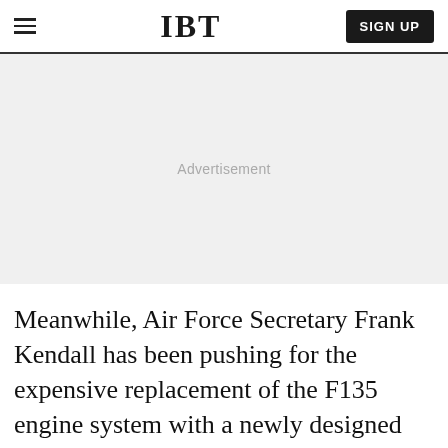IBT
[Figure (other): Advertisement placeholder area with light gray background]
Meanwhile, Air Force Secretary Frank Kendall has been pushing for the expensive replacement of the F135 engine system with a newly designed